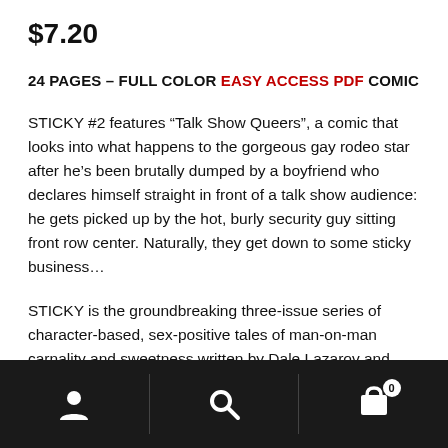$7.20
24 PAGES – FULL COLOR EASY ACCESS PDF COMIC
STICKY #2 features "Talk Show Queers", a comic that looks into what happens to the gorgeous gay rodeo star after he's been brutally dumped by a boyfriend who declares himself straight in front of a talk show audience: he gets picked up by the hot, burly security guy sitting front row center. Naturally, they get down to some sticky business...
STICKY is the groundbreaking three-issue series of character-based, sex-positive tales of man-on-man carnality and sweetness written by Dale Lazarov and
Navigation bar with user, search, and cart icons